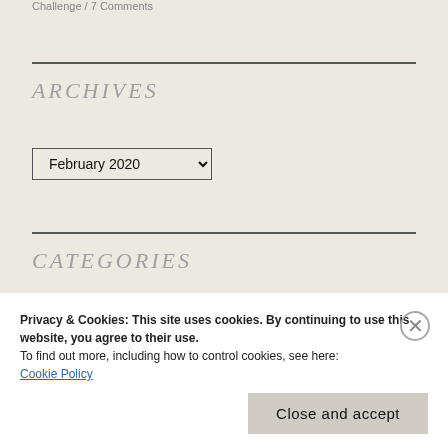Challenge / 7 Comments
ARCHIVES
February 2020
CATEGORIES
Privacy & Cookies: This site uses cookies. By continuing to use this website, you agree to their use.
To find out more, including how to control cookies, see here:
Cookie Policy
Close and accept